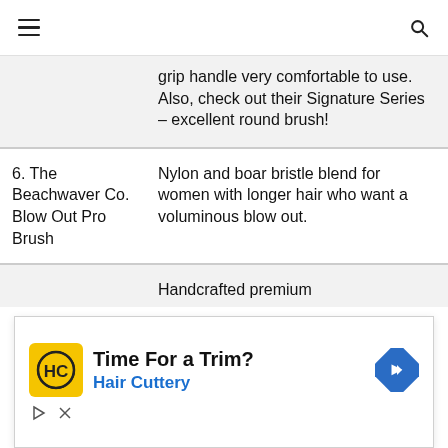navigation header with menu and search icons
| Product | Description |
| --- | --- |
|  | grip handle very comfortable to use. Also, check out their Signature Series – excellent round brush! |
| 6. The Beachwaver Co. Blow Out Pro Brush | Nylon and boar bristle blend for women with longer hair who want a voluminous blow out. |
|  | Handcrafted premium |
[Figure (other): Advertisement for Hair Cuttery: 'Time For a Trim?' with HC logo, blue subtext 'Hair Cuttery', blue diamond arrow icon, and play/close controls]